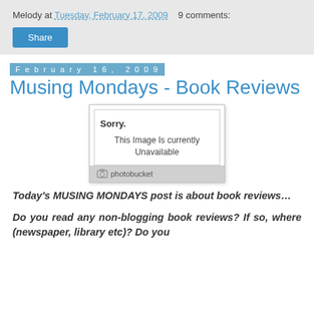Melody at Tuesday, February 17, 2009   9 comments:
Share
February 16, 2009
Musing Mondays - Book Reviews
[Figure (photo): Photobucket image placeholder showing 'Sorry. This Image Is Currently Unavailable' with Photobucket logo footer]
Today's MUSING MONDAYS post is about book reviews...
Do you read any non-blogging book reviews? If so, where (newspaper, library etc)? Do you